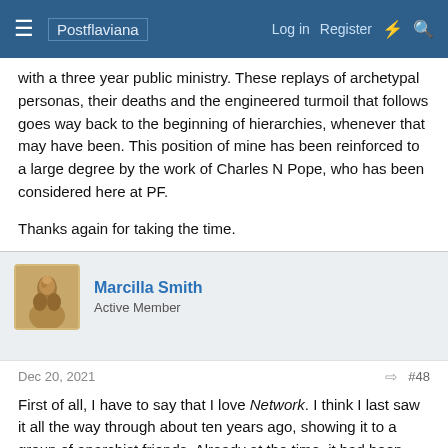Postflaviana | Log in | Register
with a three year public ministry. These replays of archetypal personas, their deaths and the engineered turmoil that follows goes way back to the beginning of hierarchies, whenever that may have been. This position of mine has been reinforced to a large degree by the work of Charles N Pope, who has been considered here at PF.

Thanks again for taking the time.
Marcilla Smith
Active Member
Dec 20, 2021
#48
First of all, I have to say that I love Network. I think I last saw it all the way through about ten years ago, showing it to a group of anarchist friends. Already at the time, it had been profoundly predictive of the future of media. Now, I think we may have